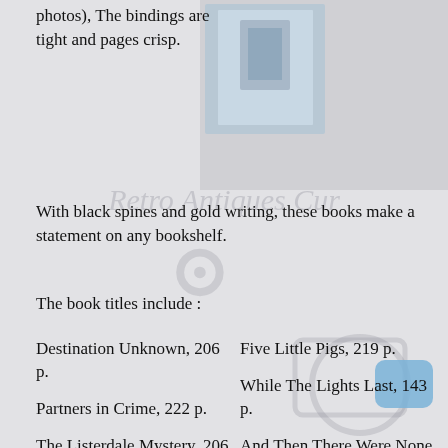photos), The bindings are tight and pages crisp.
[Figure (photo): Photo of book with blue cover on a digital device/tablet, partially visible]
With black spines and gold writing, these books make a statement on any bookshelf.
The book titles include :
Destination Unknown, 206 p.
Five Little Pigs, 219 p.
Partners in Crime, 222 p.
While The Lights Last, 143 p.
The Listerdale Mystery, 206 p.
And Then There Were None, 187 p.
At Bertram's Hotel, 208 p.
Hercule Poirot's Christmas, 220 p.